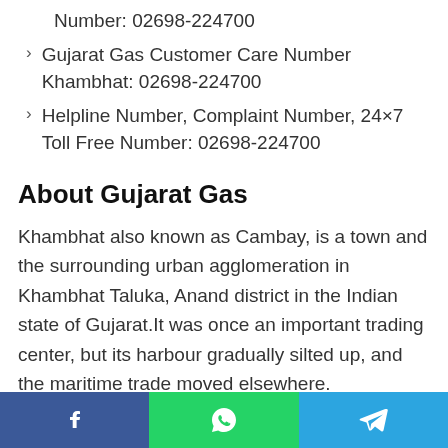Number: 02698-224700
Gujarat Gas Customer Care Number Khambhat: 02698-224700
Helpline Number, Complaint Number, 24×7 Toll Free Number: 02698-224700
About Gujarat Gas
Khambhat also known as Cambay, is a town and the surrounding urban agglomeration in Khambhat Taluka, Anand district in the Indian state of Gujarat.It was once an important trading center, but its harbour gradually silted up, and the maritime trade moved elsewhere.
Facebook | WhatsApp | Telegram